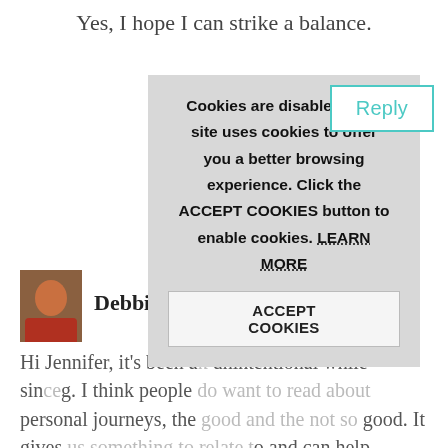Yes, I hope I can strike a balance.
[Figure (screenshot): Cookie consent popup overlay with message: 'Cookies are disabled. This site uses cookies to offer you a better browsing experience. Click the ACCEPT COOKIES button to enable cookies. LEARN MORE' and an ACCEPT COOKIES button.]
Reply
Debbie Robo...
Hi Jennifer, it's been a bit unintentional while since ... g. I think people do want to read about personal journeys, the good and the not so good. It gives us something to relate to and can help someone ... ated and alone. Helpful posts are great too, but personal posts come from the heart and it shows.

May you have many more years